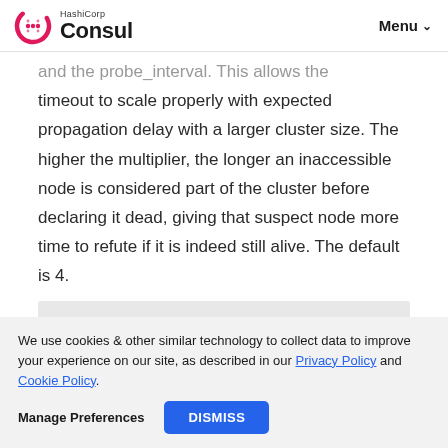HashiCorp Consul — Menu
and the probe_interval. This allows the timeout to scale properly with expected propagation delay with a larger cluster size. The higher the multiplier, the longer an inaccessible node is considered part of the cluster before declaring it dead, giving that suspect node more time to refute if it is indeed still alive. The default is 4.
We use cookies & other similar technology to collect data to improve your experience on our site, as described in our Privacy Policy and Cookie Policy.
Manage Preferences    DISMISS